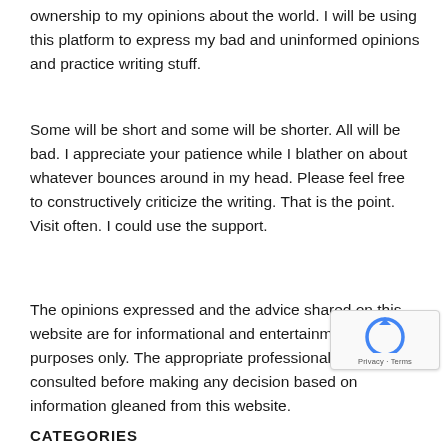ownership to my opinions about the world. I will be using this platform to express my bad and uninformed opinions and practice writing stuff.
Some will be short and some will be shorter. All will be bad. I appreciate your patience while I blather on about whatever bounces around in my head. Please feel free to constructively criticize the writing. That is the point. Visit often. I could use the support.
The opinions expressed and the advice shared on this website are for informational and entertainment purposes only. The appropriate professional should be consulted before making any decision based on information gleaned from this website.
[Figure (other): reCAPTCHA badge with Privacy and Terms links]
CATEGORIES